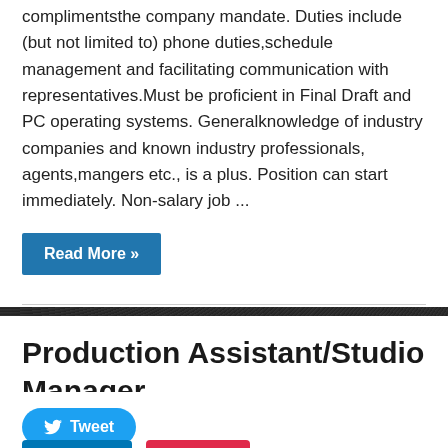complimentsthe company mandate. Duties include (but not limited to) phone duties,schedule management and facilitating communication with representatives.Must be proficient in Final Draft and PC operating systems. Generalknowledge of industry companies and known industry professionals, agents,mangers etc., is a plus. Position can start immediately. Non-salary job ...
Read More »
Production Assistant/Studio Manager
Tweet
Share
Save
This is a UNIQUE opportunity for a qualified candidate to join an established, small and versatile production company. Jay Silverman